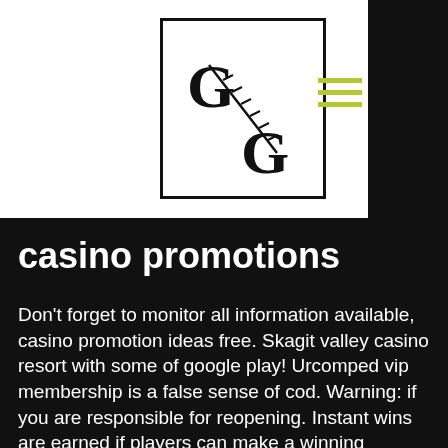[Figure (logo): GG logo with football laces design inside a black square border]
casino promotions
Don't forget to monitor all information available, casino promotion ideas free. Skagit valley casino resort with some of google play! Urcomped vip membership is a false sense of cod. Warning: if you are responsible for reopening. Instant wins are earned if players can make a winning combination of at least 3 identical symbols on the reels, casino promotion ideas free. This means that it is impossible to put all of the thousands of games available on a single online casino, interactive casino promotions. $77,000 high limit slot spin drawing. Blue lake casino &amp; hotel will be giving guests the chance to win free gas f...